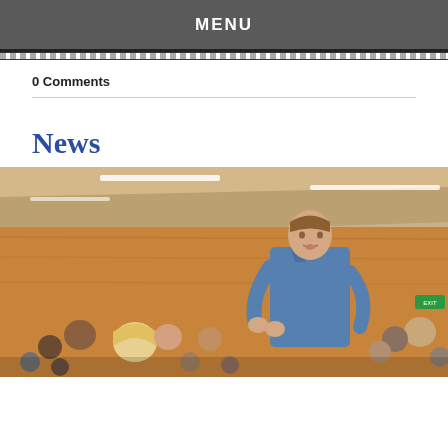MENU
0 Comments
News
[Figure (photo): A young man in a blue denim shirt standing and speaking in a large lecture hall filled with seated students. The hall has wooden paneled walls and fluorescent strip lighting on the ceiling.]